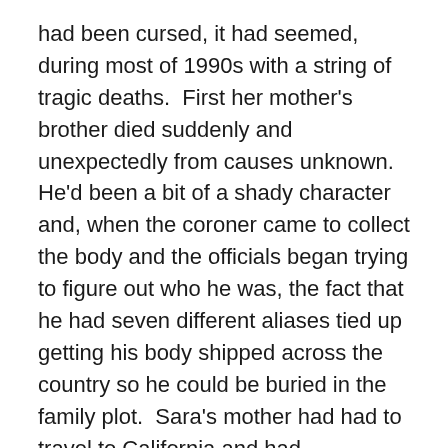had been cursed, it had seemed, during most of 1990s with a string of tragic deaths.  First her mother's brother died suddenly and unexpectedly from causes unknown.  He'd been a bit of a shady character and, when the coroner came to collect the body and the officials began trying to figure out who he was, the fact that he had seven different aliases tied up getting his body shipped across the country so he could be buried in the family plot.  Sara's mother had had to travel to California and had discovered eighteen shaving kit bags filled with cash in the rafters of his garage.  A year later, Sara's aunt died of breast cancer, another year later and her grandfather died.  And then there was the accident.
Sara placed her hand under the tap and felt the cutting sting of the ice cold water slice through her hand.  Shit.  She'd forgotten that the water heater also ran on propane